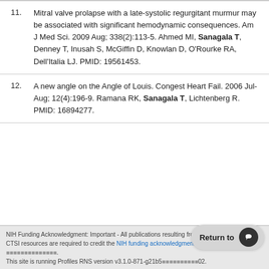Mitral valve prolapse with a late-systolic regurgitant murmur may be associated with significant hemodynamic consequences. Am J Med Sci. 2009 Aug; 338(2):113-5. Ahmed MI, Sanagala T, Denney T, Inusah S, McGiffin D, Knowlan D, O'Rourke RA, Dell'Italia LJ. PMID: 19561453.
A new angle on the Angle of Louis. Congest Heart Fail. 2006 Jul-Aug; 12(4):196-9. Ramana RK, Sanagala T, Lichtenberg R. PMID: 16894277.
NIH Funding Acknowledgment: Important - All publications resulting from the utilization of SC CTSI resources are required to credit the NIH funding acknowledgment and must comply with NIH policy. This site is running Profiles RNS version v3.1.0-871-g21b5... 02.